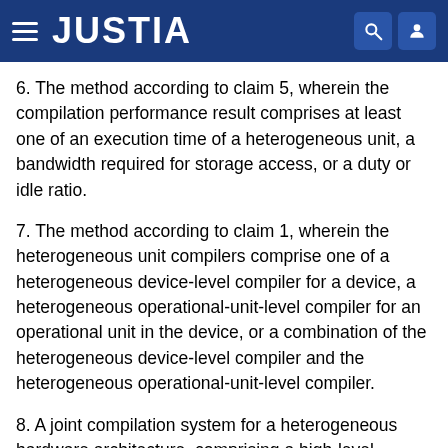JUSTIA
6. The method according to claim 5, wherein the compilation performance result comprises at least one of an execution time of a heterogeneous unit, a bandwidth required for storage access, or a duty or idle ratio.
7. The method according to claim 1, wherein the heterogeneous unit compilers comprise one of a heterogeneous device-level compiler for a device, a heterogeneous operational-unit-level compiler for an operational unit in the device, or a combination of the heterogeneous device-level compiler and the heterogeneous operational-unit-level compiler.
8. A joint compilation system for a heterogeneous hardware architecture, comprising a high-level compiler general control unit, a plurality of heterogeneous unit